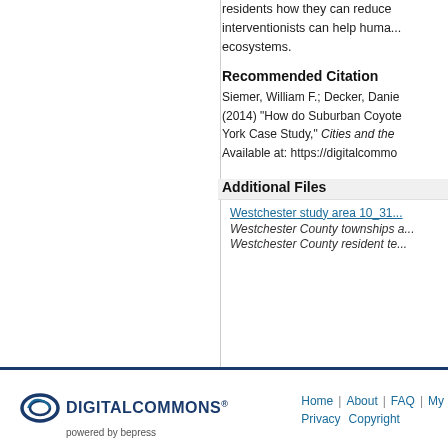residents how they can reduce interventionists can help humans ecosystems.
Recommended Citation
Siemer, William F.; Decker, Danie... (2014) "How do Suburban Coyote... York Case Study," Cities and the ... Available at: https://digitalcommo...
Additional Files
Westchester study area 10_31...
Westchester County townships a...
Westchester County resident te...
[Figure (logo): DigitalCommons powered by bepress logo]
Home | About | FAQ | My... Privacy Copyright